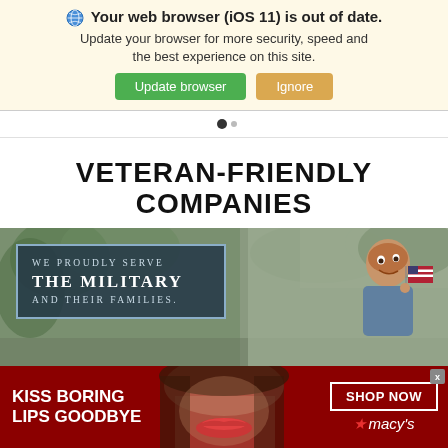Your web browser (iOS 11) is out of date. Update your browser for more security, speed and the best experience on this site. Update browser | Ignore
VETERAN-FRIENDLY COMPANIES
[Figure (photo): Military-themed advertisement banner showing text 'WE PROUDLY SERVE THE MILITARY AND THEIR FAMILIES.' in a dark bordered box on a green background, with a child holding an American flag on the right side.]
[Figure (photo): Macy's advertisement banner with dark red background showing 'KISS BORING LIPS GOODBYE' on the left, a woman's face with red lips in the center, and 'SHOP NOW' button with Macy's star logo on the right.]